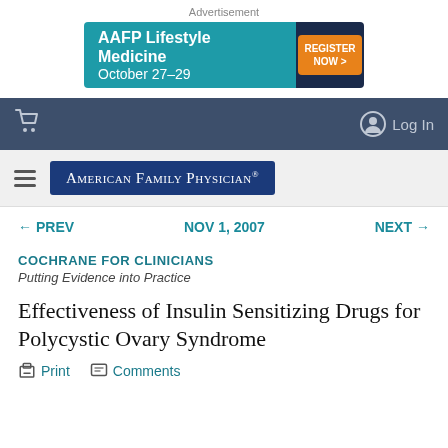Advertisement
[Figure (infographic): AAFP Lifestyle Medicine October 27-29 advertisement banner with teal background and Register Now button]
Cart icon | Log In
American Family Physician (journal logo)
← PREV   NOV 1, 2007   NEXT →
COCHRANE FOR CLINICIANS
Putting Evidence into Practice
Effectiveness of Insulin Sensitizing Drugs for Polycystic Ovary Syndrome
Print   Comments